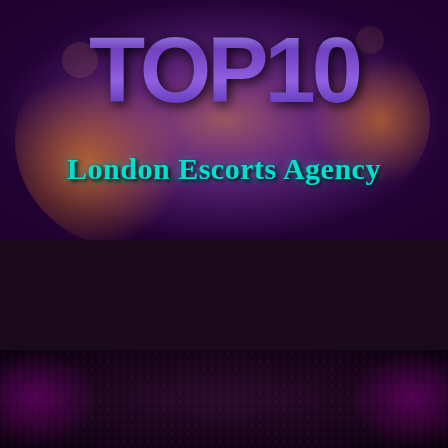[Figure (photo): TOP10 London Escorts Agency logo banner with purple gradient background and decorative bokeh lighting effects]
Client Reviews
We have many satisfied clients at TOP10 London Escorts Agency
What our Customers say...
BiRi is 5'3' tall, youth with a skin caring on